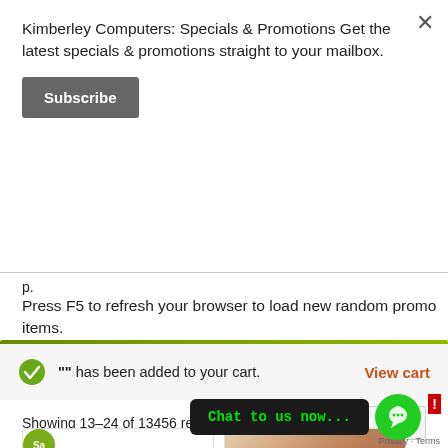Kimberley Computers: Specials & Promotions Get the latest specials & promotions straight to your mailbox.
Subscribe
p.
Press F5 to refresh your browser to load new random promo items.
"" has been added to your cart.
View cart
Showing 13–24 of 13456 results
Sort by latest
Chat to us now...
Privacy · Terms